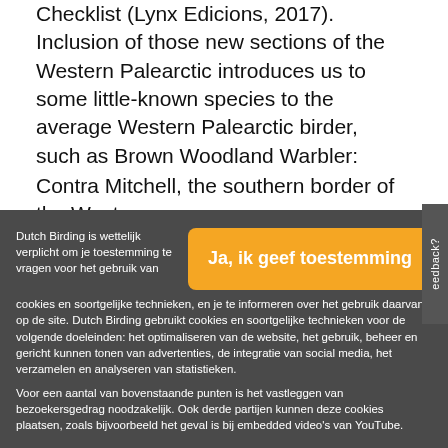Checklist (Lynx Edicions, 2017). Inclusion of those new sections of the Western Palearctic introduces us to some little-known species to the average Western Palearctic birder, such as Brown Woodland Warbler:
Contra Mitchell, the southern border of the Western
Dutch Birding is wettelijk verplicht om je toestemming te vragen voor het gebruik van cookies en soortgelijke technieken, en je te informeren over het gebruik daarvan op de site. Dutch Birding gebruikt cookies en soortgelijke technieken voor de volgende doeleinden: het optimaliseren van de website, het gebruik, beheer en gericht kunnen tonen van advertenties, de integratie van social media, het verzamelen en analyseren van statistieken.
Voor een aantal van bovenstaande punten is het vastleggen van bezoekersgedrag noodzakelijk. Ook derde partijen kunnen deze cookies plaatsen, zoals bijvoorbeeld het geval is bij embedded video's van YouTube.